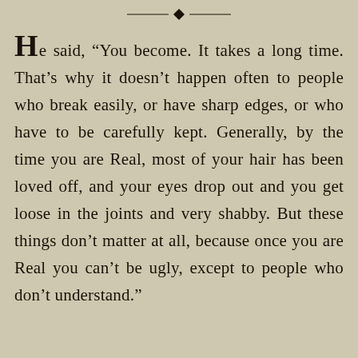[Figure (illustration): Decorative horizontal rule with a central diamond ornament]
He said, “You become. It takes a long time. That’s why it doesn’t happen often to people who break easily, or have sharp edges, or who have to be carefully kept. Generally, by the time you are Real, most of your hair has been loved off, and your eyes drop out and you get loose in the joints and very shabby. But these things don’t matter at all, because once you are Real you can’t be ugly, except to people who don’t understand.”